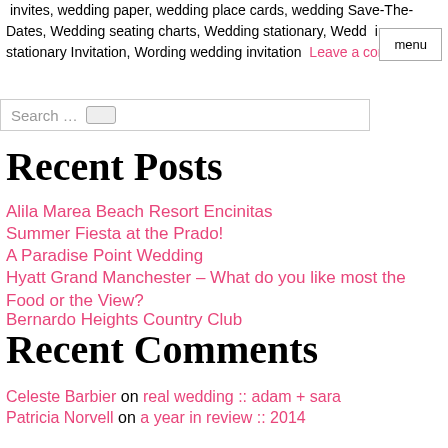invites, wedding paper, wedding place cards, wedding Save-The-Dates, Wedding seating charts, Wedding stationary, Wedding stationary Invitation, Wording wedding invitation Leave a comment
Search …
Recent Posts
Alila Marea Beach Resort Encinitas
Summer Fiesta at the Prado!
A Paradise Point Wedding
Hyatt Grand Manchester – What do you like most the Food or the View?
Bernardo Heights Country Club
Recent Comments
Celeste Barbier on real wedding :: adam + sara
Patricia Norvell on a year in review :: 2014
Weddings of Distinction February Networking Meeting | Mt Woodson Castle on news + press :: february's meeting at Mt Woodson
Kimmy Terrell on a year in review :: 2014